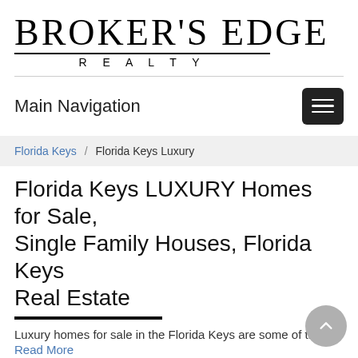[Figure (logo): Broker's Edge Realty logo with large serif text 'BROKER'S EDGE' and 'REALTY' below]
Main Navigation
Florida Keys / Florida Keys Luxury
Florida Keys LUXURY Homes for Sale, Single Family Houses, Florida Keys Real Estate
Luxury homes for sale in the Florida Keys are some of the
Read More
Total Listings 574